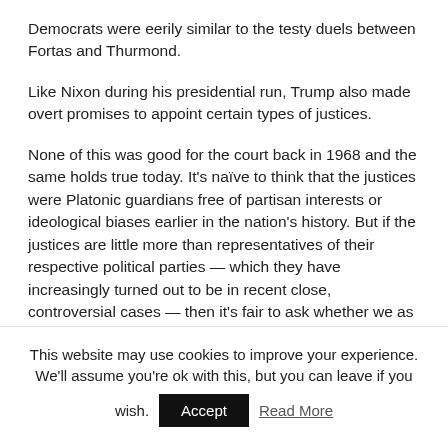Democrats were eerily similar to the testy duels between Fortas and Thurmond.
Like Nixon during his presidential run, Trump also made overt promises to appoint certain types of justices.
None of this was good for the court back in 1968 and the same holds true today. It's naïve to think that the justices were Platonic guardians free of partisan interests or ideological biases earlier in the nation's history. But if the justices are little more than representatives of their respective political parties — which they have increasingly turned out to be in recent close, controversial cases — then it's fair to ask whether we as a nation should entrust nine people operating a nondemocratic institution to make these
This website may use cookies to improve your experience. We'll assume you're ok with this, but you can leave if you wish.  Accept  Read More